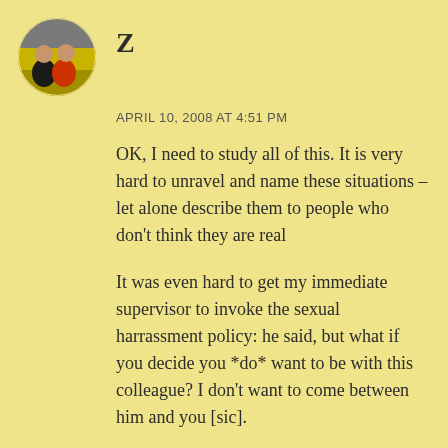[Figure (photo): Circular avatar photo showing two people sitting together]
Z
APRIL 10, 2008 AT 4:51 PM
OK, I need to study all of this. It is very hard to unravel and name these situations – let alone describe them to people who don't think they are real
It was even hard to get my immediate supervisor to invoke the sexual harrassment policy: he said, but what if you decide you *do* want to be with this colleague? I don't want to come between him and you [sic].
It took a letter from a really scary labor